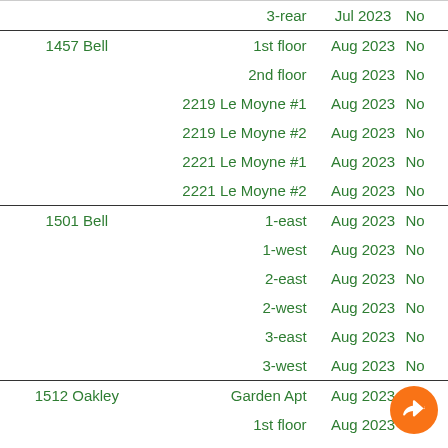| Address | Unit | Date | Status |
| --- | --- | --- | --- |
|  | 3-rear | Jul 2023 | No |
| 1457 Bell | 1st floor | Aug 2023 | No |
|  | 2nd floor | Aug 2023 | No |
|  | 2219 Le Moyne #1 | Aug 2023 | No |
|  | 2219 Le Moyne #2 | Aug 2023 | No |
|  | 2221 Le Moyne #1 | Aug 2023 | No |
|  | 2221 Le Moyne #2 | Aug 2023 | No |
| 1501 Bell | 1-east | Aug 2023 | No |
|  | 1-west | Aug 2023 | No |
|  | 2-east | Aug 2023 | No |
|  | 2-west | Aug 2023 | No |
|  | 3-east | Aug 2023 | No |
|  | 3-west | Aug 2023 | No |
| 1512 Oakley | Garden Apt | Aug 2023 | No |
|  | 1st floor | Aug 2023 | No |
|  | 2nd floor | Aug 2023 | No |
|  | 3rd floor | Aug 2023 | No |